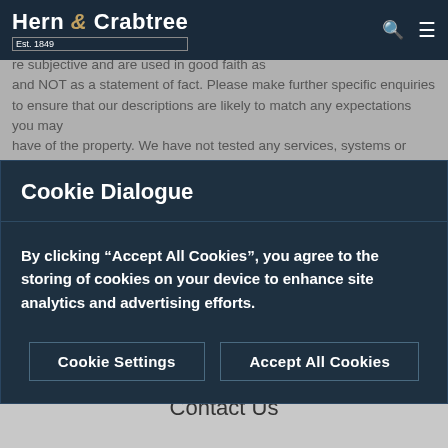Hern & Crabtree Est. 1849
re subjective and are used in good faith as and NOT as a statement of fact. Please make further specific enquiries to ensure that our descriptions are likely to match any expectations you may have of the property. We have not tested any services, systems or appliances at this property. We strongly recommend that all the information we provide be verified by you on inspection, and by your Surveyor and Conveyancer.
Cookie Dialogue
By clicking “Accept All Cookies”, you agree to the storing of cookies on your device to enhance site analytics and advertising efforts.
Cookie Settings
Accept All Cookies
Instant Online Valuation ›
Contact Us